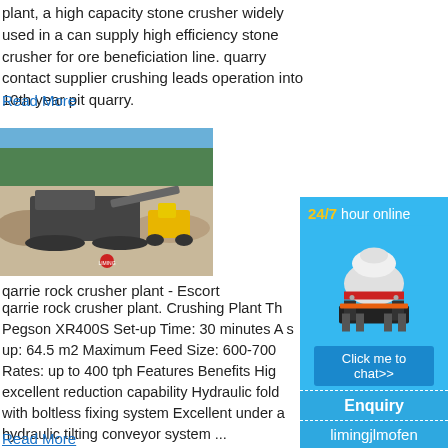plant, a high capacity stone crusher widely used in a can supply high efficiency stone crusher for ore beneficiation line. quarry contact supplier crushing leads operation into 10th year pit quarry.
Read More
[Figure (photo): Photo of a mobile stone crusher plant operating at an open pit quarry, with a yellow loader in the background and the Liming brand logo visible.]
qarrie rock crusher plant - Escort
qarrie rock crusher plant. Crushing Plant Th Pegson XR400S Set-up Time: 30 minutes A s up: 64.5 m2 Maximum Feed Size: 600-700 Rates: up to 400 tph Features Benefits Hig excellent reduction capability Hydraulic fold with boltless fixing system Excellent under th a hydraulic tilting conveyor system ...
Read More
[Figure (infographic): Blue sidebar advertisement showing '24/7 hour online' text, a white cone crusher machine image, a 'Click me to chat>>' button, an 'Enquiry' bar, and 'limingjlmofen' text.]